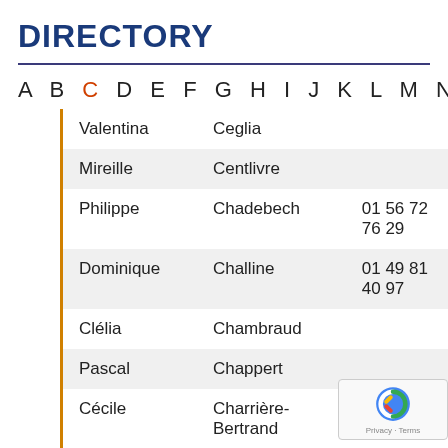DIRECTORY
A B C D E F G H I J K L M N O P Q R S T U V
| First Name | Last Name | Phone |
| --- | --- | --- |
| Valentina | Ceglia |  |
| Mireille | Centlivre |  |
| Philippe | Chadebech | 01 56 72 76 29 |
| Dominique | Challine | 01 49 81 40 97 |
| Clélia | Chambraud |  |
| Pascal | Chappert |  |
| Cécile | Charrière-Bertrand | 01 49 81 35 46 |
| Sophie | Chateau |  |
| Dounia | Chater |  |
| Sarah | Chebouti |  |
| Rim | Cherif |  |